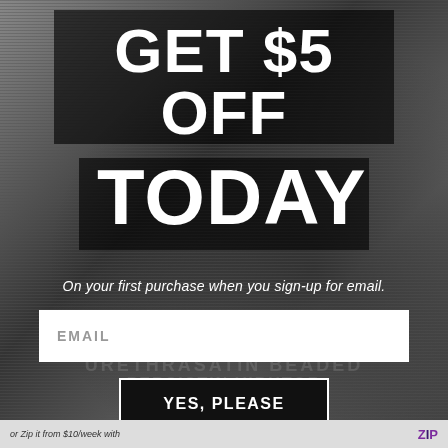[Figure (photo): Black and white background photo of fashion accessories (bag, chains) with bokeh/blur effect]
GET $5 OFF TODAY
On your first purchase when you sign-up for email.
EMAIL
YES, PLEASE
By selecting, "Yes, please", you agree to our Terms of Use and Terms of Sale & Privacy Policy.
or Zip it from $10/week with    ZIP